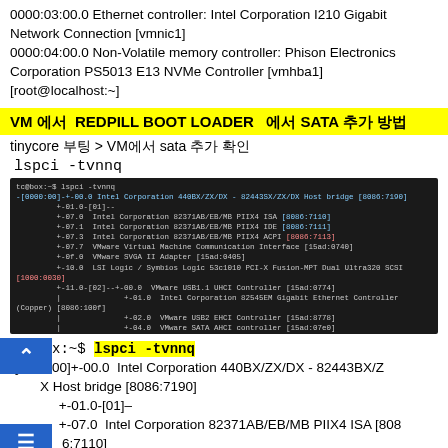0000:03:00.0 Ethernet controller: Intel Corporation I210 Gigabit Network Connection [vmnic1]
0000:04:00.0 Non-Volatile memory controller: Phison Electronics Corporation PS5013 E13 NVMe Controller [vmhba1]
[root@localhost:~]
VM 에서 REDPILL BOOT LOADER 에서 SATA 추가 방법
tinycore 부팅 > VM에서 sata 추가 확인
lspci -tvnnq
[Figure (screenshot): Terminal screenshot showing output of lspci -tvnnq command with PCI device tree including Intel 440BX host bridge, LSI Logic SCSI, VMware USB, SATA, and Ethernet controllers]
tc@box:~$ lspci -tvnnq
-[0000:00]+-00.0  Intel Corporation 440BX/ZX/DX - 82443BX/ZX/DX Host bridge [8086:7190]
      +-01.0-[01]–
      +-07.0  Intel Corporation 82371AB/EB/MB PIIX4 ISA [8086:7110]
      +-07.1  Intel Corporation 82371AB/EB/MB PIIX4 IDE [8086:7111]